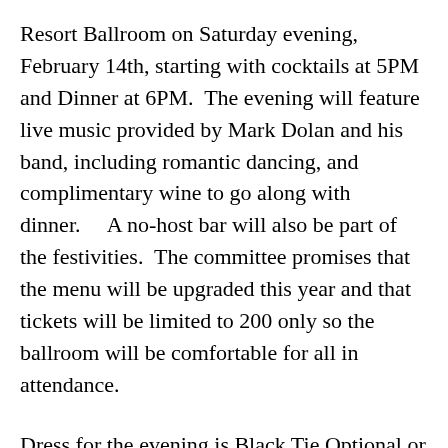Resort Ballroom on Saturday evening, February 14th, starting with cocktails at 5PM and Dinner at 6PM.  The evening will feature live music provided by Mark Dolan and his band, including romantic dancing, and complimentary wine to go along with dinner.    A no-host bar will also be part of the festivities.  The committee promises that the menu will be upgraded this year and that tickets will be limited to 200 only so the ballroom will be comfortable for all in attendance.
Dress for the evening is Black Tie Optional or “Big Bear Formal” and it should be a fun and very unique evening for all who attend.  All Sweethearts in the Valley should plan to attend and dance the night away during this special evening.
Tickets for the 2015 Sweetheart Ball are $55 per person.  Invitations will be mailed to a large mailing list